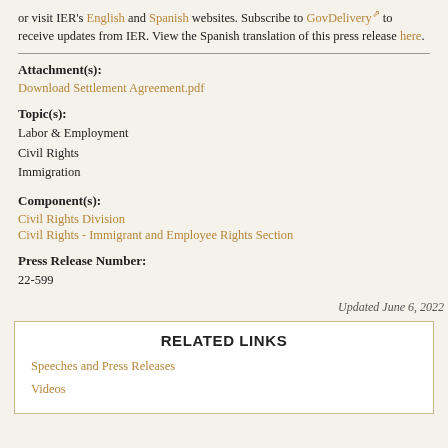or visit IER's English and Spanish websites. Subscribe to GovDelivery to receive updates from IER. View the Spanish translation of this press release here.
Attachment(s):
Download Settlement Agreement.pdf
Topic(s):
Labor & Employment
Civil Rights
Immigration
Component(s):
Civil Rights Division
Civil Rights - Immigrant and Employee Rights Section
Press Release Number:
22-599
Updated June 6, 2022
RELATED LINKS
Speeches and Press Releases
Videos